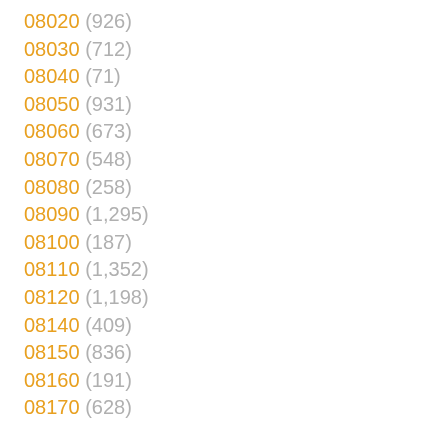08020 (926)
08030 (712)
08040 (71)
08050 (931)
08060 (673)
08070 (548)
08080 (258)
08090 (1,295)
08100 (187)
08110 (1,352)
08120 (1,198)
08140 (409)
08150 (836)
08160 (191)
08170 (628)